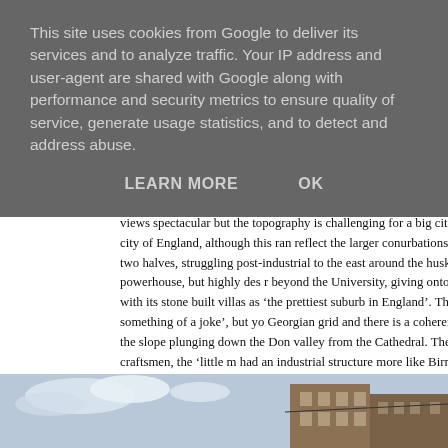This site uses cookies from Google to deliver its services and to analyze traffic. Your IP address and user-agent are shared with Google along with performance and security metrics to ensure quality of service, generate usage statistics, and to detect and address abuse.
LEARN MORE   OK
views spectacular but the topography is challenging for a big city. And with 550,000 Sheffield claims to be the fourth city of England, although this rank reflect the larger conurbations of Manchester, Liverpool or Newcastle. She city of two halves, struggling post-industrial to the east around the husks of industry which had made it such an economic powerhouse, but highly des r beyond the University, giving onto the superb Peak District landscape. Betj Broomhill with its stone built villas as 'the prettiest suburb in England'. Th gracious – Ian Nairn said 'the old buildings are something of a joke', but yo Georgian grid and there is a coherent and characterful area of austerely det houses on the slope plunging down the Don valley from the Cathedral. The too of the myriad cutlery workshops of independent craftsmen, the 'little m had an industrial structure more like Birmingham than, say, Leeds, and has economic trajectory.
[Figure (photo): Photo of a street with brick buildings and a cloudy sky, partially visible at the bottom of the page.]